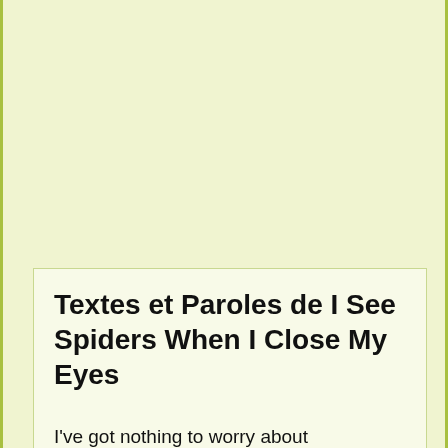Textes et Paroles de I See Spiders When I Close My Eyes
I've got nothing to worry about
So I worry about nothing
I think I've got fleas
Or some tropical disease...